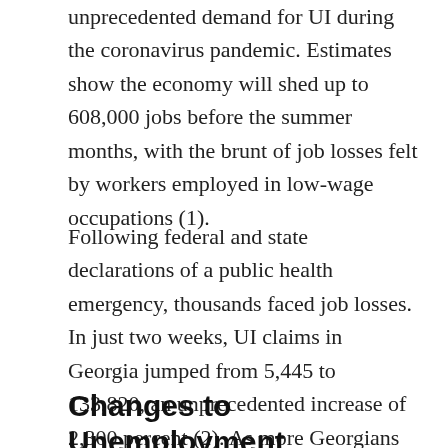unprecedented demand for UI during the coronavirus pandemic. Estimates show the economy will shed up to 608,000 jobs before the summer months, with the brunt of job losses felt by workers employed in low-wage occupations (1).
Following federal and state declarations of a public health emergency, thousands faced job losses. In just two weeks, UI claims in Georgia jumped from 5,445 to 133,820, an unprecedented increase of 2,300 percent (2). As more Georgians and businesses adhere to social distancing requirements, UI claims will continue to grow at a rapid pace.
Changes to Unemployment